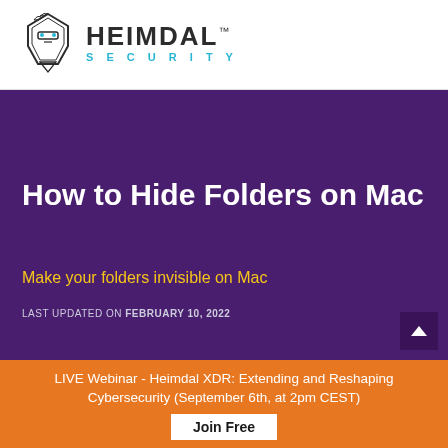[Figure (logo): Heimdal Security logo: stylized helmet icon on left, HEIMDAL in bold dark text with TM superscript, SECURITY in teal spaced letters below]
How to Hide Folders on Mac
Make your folders invisible on Mac
LAST UPDATED ON FEBRUARY 10, 2022
LIVE Webinar - Heimdal XDR: Extending and Reshaping Cybersecurity (September 6th, at 2pm CEST)
Join Free